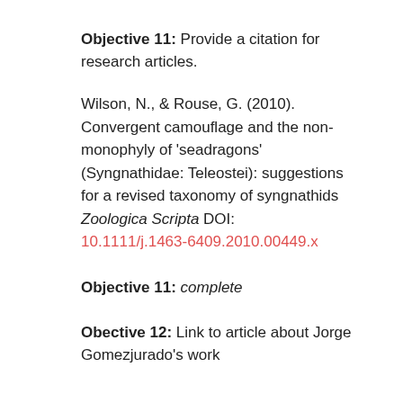Objective 11: Provide a citation for research articles.
Wilson, N., & Rouse, G. (2010). Convergent camouflage and the non-monophyly of 'seadragons' (Syngnathidae: Teleostei): suggestions for a revised taxonomy of syngnathids Zoologica Scripta DOI: 10.1111/j.1463-6409.2010.00449.x
Objective 11: complete
Obective 12: Link to article about Jorge Gomezjurado's work